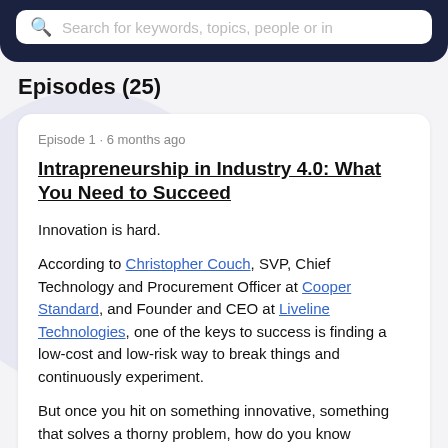Search for keywords, topics, people or in
Episodes (25)
Episode 1 · 6 months ago
Intrapreneurship in Industry 4.0: What You Need to Succeed
Innovation is hard.

According to Christopher Couch, SVP, Chief Technology and Procurement Officer at Cooper Standard, and Founder and CEO at Liveline Technologies, one of the keys to success is finding a low-cost and low-risk way to break things and continuously experiment.

But once you hit on something innovative, something that solves a thorny problem, how do you know